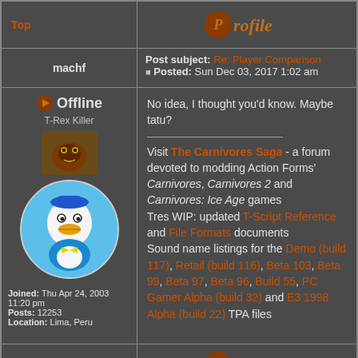Top | Profile
machf
Post subject: Re: Player Comparison
Posted: Sun Dec 03, 2017 1:02 am
[Figure (illustration): Offline icon and text, user avatar (cartoon dino icon and Donald Duck-like cartoon avatar)]
Joined: Thu Apr 24, 2003 11:20 pm
Posts: 12253
Location: Lima, Peru
No idea, I thought you'd know. Maybe tatu?

Visit The Carnivores Saga - a forum devoted to modding Action Forms' Carnivores, Carnivores 2 and Carnivores: Ice Age games
Tres WIP: updated T-Script Reference and File Formats documents
Sound name listings for the Demo (build 117), Retail (build 116), Beta 103, Beta 99, Beta 97, Beta 96, Build 55, PC Gamer Alpha (build 32) and E3 1998 Alpha (build 22) TPA files
Top | Profile
Posted: ...